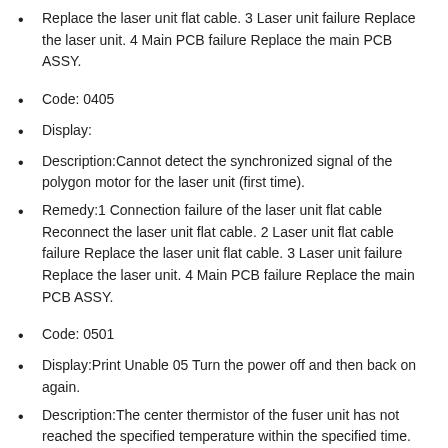Replace the laser unit flat cable. 3 Laser unit failure Replace the laser unit. 4 Main PCB failure Replace the main PCB ASSY.
Code: 0405
Display:
Description:Cannot detect the synchronized signal of the polygon motor for the laser unit (first time).
Remedy:1 Connection failure of the laser unit flat cable Reconnect the laser unit flat cable. 2 Laser unit flat cable failure Replace the laser unit flat cable. 3 Laser unit failure Replace the laser unit. 4 Main PCB failure Replace the main PCB ASSY.
Code: 0501
Display:Print Unable 05 Turn the power off and then back on again.
Description:The center thermistor of the fuser unit has not reached the specified temperature within the specified time.
Remedy:1 Connection failure of the center or side thermistor